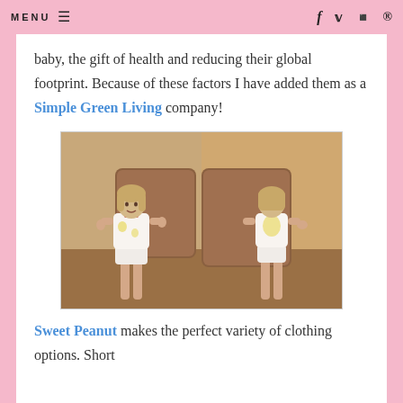MENU  f  twitter  instagram  pinterest
baby, the gift of health and reducing their global footprint. Because of these factors I have added them as a Simple Green Living company!
[Figure (photo): Two side-by-side photos of a young girl wearing white pajamas with yellow print pattern — left photo shows her facing front, right photo shows her from the back, both in a living room setting with brown furniture]
Sweet Peanut makes the perfect variety of clothing options. Short